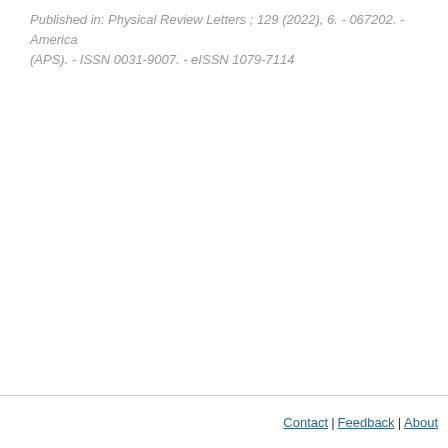Published in: Physical Review Letters ; 129 (2022), 6. - 067202. - America (APS). - ISSN 0031-9007. - eISSN 1079-7114
Contact | Feedback | About